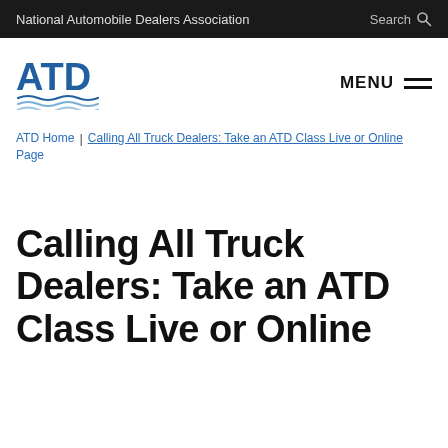National Automobile Dealers Association | Search
[Figure (logo): ATD logo in blue with wave graphic below letters]
MENU
ATD Home Page | Calling All Truck Dealers: Take an ATD Class Live or Online
Calling All Truck Dealers: Take an ATD Class Live or Online